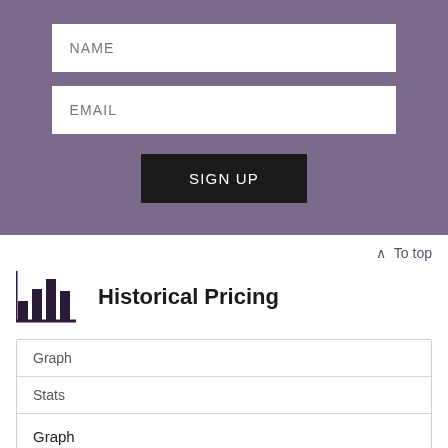[Figure (screenshot): Sign-up form with NAME and EMAIL input fields and a SIGN UP button on a purple background]
∧ To top
Historical Pricing
| Graph | Stats |
| --- | --- |
| Graph |  |